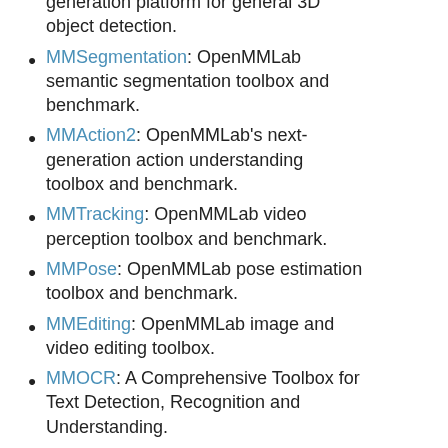generation platform for general 3D object detection.
MMSegmentation: OpenMMLab semantic segmentation toolbox and benchmark.
MMAction2: OpenMMLab's next-generation action understanding toolbox and benchmark.
MMTracking: OpenMMLab video perception toolbox and benchmark.
MMPose: OpenMMLab pose estimation toolbox and benchmark.
MMEditing: OpenMMLab image and video editing toolbox.
MMOCR: A Comprehensive Toolbox for Text Detection, Recognition and Understanding.
MMGeneration: A powerful toolkit for